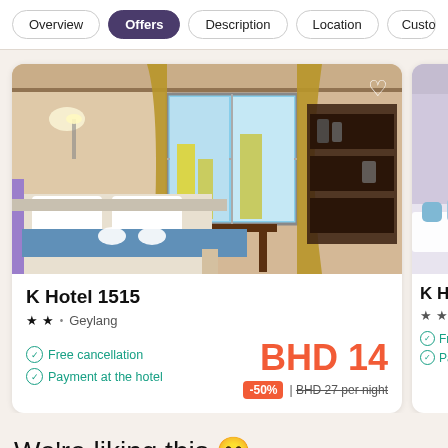Overview  Offers  Description  Location  Customer
[Figure (photo): Hotel room photo showing a bed with blue runner, golden curtains, window with city view, and wall shelving unit]
K Hotel 1515
★★ • Geylang
Free cancellation
Payment at the hotel
BHD 14
-50% | BHD 27 per night
[Figure (photo): Partial hotel room photo showing purple/lilac walls]
K Hotel
★★★ •
Free c
Paym
We're liking this 😊